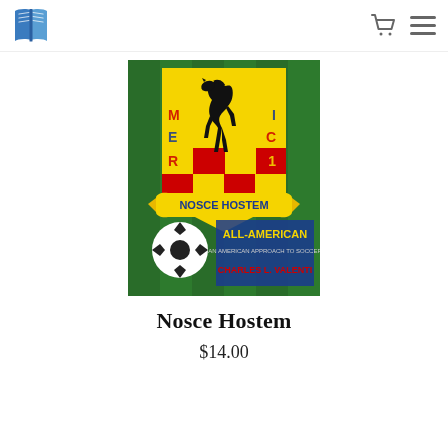Book store logo, cart icon, hamburger menu
[Figure (illustration): Book cover for 'Nosce Hostem' / 'All-American: An American Approach to Soccer' by Charles L. Valenti. Green grass background with a shield/crest logo showing a black rearing horse on yellow and red checkered background with letters spelling out AMERICA. A soccer ball appears in the lower left. Text reads 'ALL-AMERICAN', 'AN AMERICAN APPROACH TO SOCCER', 'CHARLES L. VALENTI'.]
Nosce Hostem
$14.00